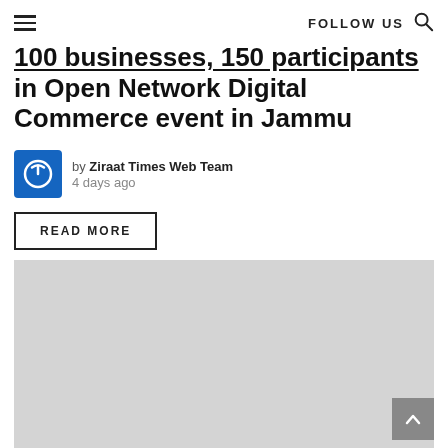FOLLOW US
100 businesses, 150 participants in Open Network Digital Commerce event in Jammu
by Ziraat Times Web Team
4 days ago
READ MORE
[Figure (photo): Gray placeholder image area]